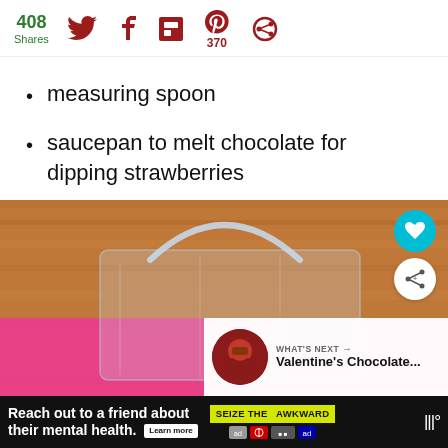408 Shares | Social share icons: Twitter, Facebook, Flipboard, Pinterest (370), Share
measuring spoon
saucepan to melt chocolate for dipping strawberries
[Figure (photo): Photo of a clear plastic bag with handle sitting on a wooden table, with pink paper visible. Overlaid with heart button, share button, and 'What's Next: Valentine's Chocolate...' card with thumbnail.]
Reach out to a friend about their mental health. Learn more | SEIZE THE AWKWARD